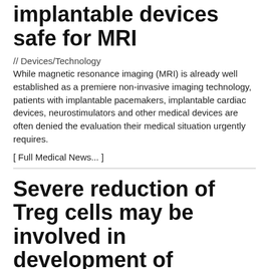implantable devices safe for MRI
// Devices/Technology
While magnetic resonance imaging (MRI) is already well established as a premiere non-invasive imaging technology, patients with implantable pacemakers, implantable cardiac devices, neurostimulators and other medical devices are often denied the evaluation their medical situation urgently requires.
[ Full Medical News... ]
Severe reduction of Treg cells may be involved in development of pemphigus vulgaris